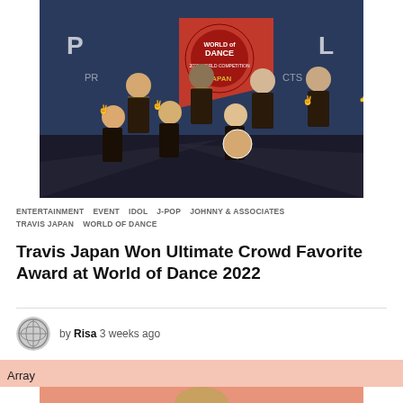[Figure (photo): Group photo of Travis Japan dancers on stage holding a red World of Dance flag, wearing dark plaid outfits with gold trim, posing with peace signs against a blue backdrop]
ENTERTAINMENT  EVENT  IDOL  J-POP  JOHNNY & ASSOCIATES  TRAVIS JAPAN  WORLD OF DANCE
Travis Japan Won Ultimate Crowd Favorite Award at World of Dance 2022
by Risa 3 weeks ago
Array
[Figure (photo): Close-up portrait photo of a person with light brown hair against a salmon/coral background]